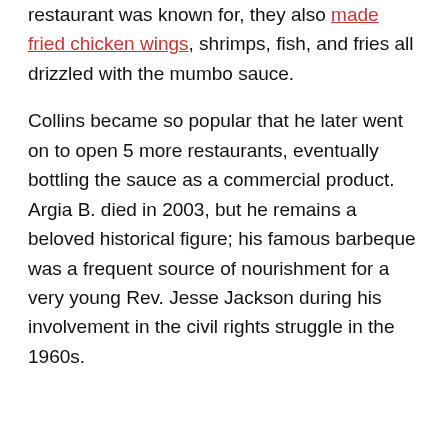restaurant was known for, they also made fried chicken wings, shrimps, fish, and fries all drizzled with the mumbo sauce.

Collins became so popular that he later went on to open 5 more restaurants, eventually bottling the sauce as a commercial product. Argia B. died in 2003, but he remains a beloved historical figure; his famous barbeque was a frequent source of nourishment for a very young Rev. Jesse Jackson during his involvement in the civil rights struggle in the 1960s.